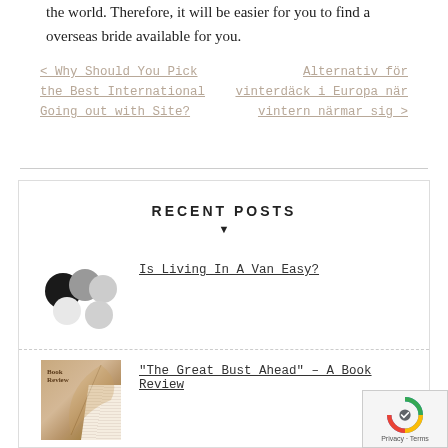the world. Therefore, it will be easier for you to find a overseas bride available for you.
< Why Should You Pick the Best International Going out with Site?    Alternativ för vinterdäck i Europa när vintern närmar sig >
RECENT POSTS
Is Living In A Van Easy?
"The Great Bust Ahead" – A Book Review